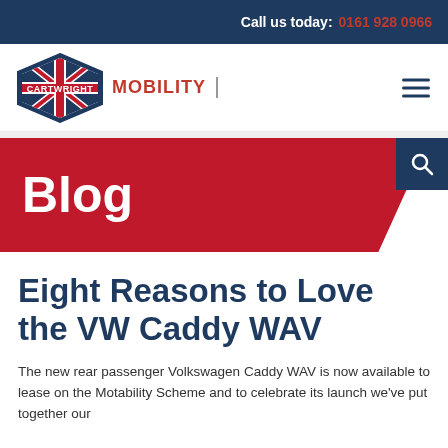Call us today: 0161 928 0966
[Figure (logo): Cartwright Mobility logo with Union Jack diamond badge and red MOBILITY text]
Blog
Eight Reasons to Love the VW Caddy WAV
The new rear passenger Volkswagen Caddy WAV is now available to lease on the Motability Scheme and to celebrate its launch we've put together our